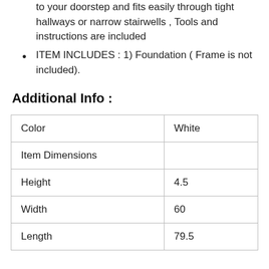to your doorstep and fits easily through tight hallways or narrow stairwells , Tools and instructions are included
ITEM INCLUDES : 1) Foundation ( Frame is not included).
Additional Info :
| Color | White |
| Item Dimensions |  |
| Height | 4.5 |
| Width | 60 |
| Length | 79.5 |